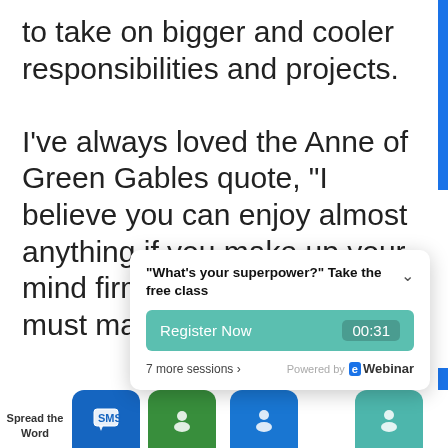to take on bigger and cooler responsibilities and projects.

I've always loved the Anne of Green Gables quote, "I believe you can enjoy almost anything if you make up your mind firmly to.  Of course, you must make up your
[Figure (screenshot): Webinar popup widget with title 'What's your superpower? Take the free class', a teal Register Now button with 00:31 countdown timer, '7 more sessions' link, and Powered by eWebinar branding.]
[Figure (screenshot): Bottom toolbar with Spread the Word label, blue SMS icon button, green button, blue person icon button, and teal person icon button.]